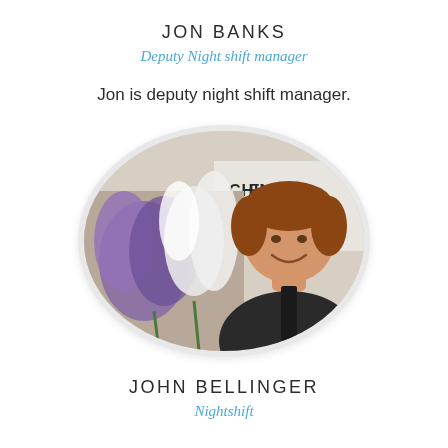JON BANKS
Deputy Night shift manager
Jon is deputy night shift manager.
[Figure (photo): Oval portrait photo of Jon Banks standing in front of flowers (purple and white gladioli) with a sign partially reading 'CHIN E EVER N' in the background. He has reddish-brown hair and is wearing a dark jacket, smiling.]
JOHN BELLINGER
Nightshift